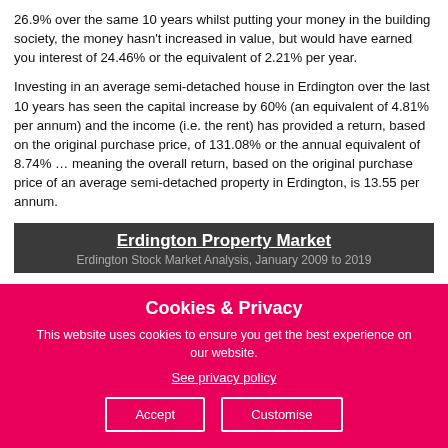26.9% over the same 10 years whilst putting your money in the building society, the money hasn't increased in value, but would have earned you interest of 24.46% or the equivalent of 2.21% per year.
Investing in an average semi-detached house in Erdington over the last 10 years has seen the capital increase by 60% (an equivalent of 4.81% per annum) and the income (i.e. the rent) has provided a return, based on the original purchase price, of 131.08% or the annual equivalent of 8.74% … meaning the overall return, based on the original purchase price of an average semi-detached property in Erdington, is 13.55 per annum.
Erdington Property Market
Cookies & Privacy
This website uses cookies to ensure you get the best experience on our website.
See privacy policy
Accept
Customise